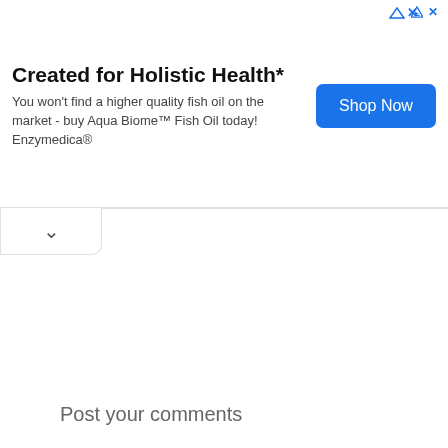[Figure (screenshot): Advertisement banner for Enzymedica Aqua Biome Fish Oil. Title: 'Created for Holistic Health*'. Body text: 'You won't find a higher quality fish oil on the market - buy Aqua Biome™ Fish Oil today! Enzymedica®'. Blue 'Shop Now' button on the right. Ad icons (triangle and X) in top-right corner.]
Post your comments